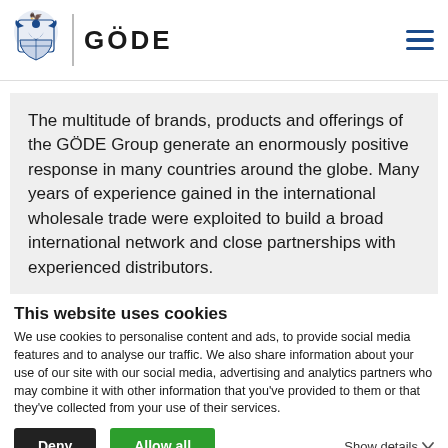GÖDE
The multitude of brands, products and offerings of the GÖDE Group generate an enormously positive response in many countries around the globe. Many years of experience gained in the international wholesale trade were exploited to build a broad international network and close partnerships with experienced distributors.
This website uses cookies
We use cookies to personalise content and ads, to provide social media features and to analyse our traffic. We also share information about your use of our site with our social media, advertising and analytics partners who may combine it with other information that you've provided to them or that they've collected from your use of their services.
Deny | Allow all | Show details